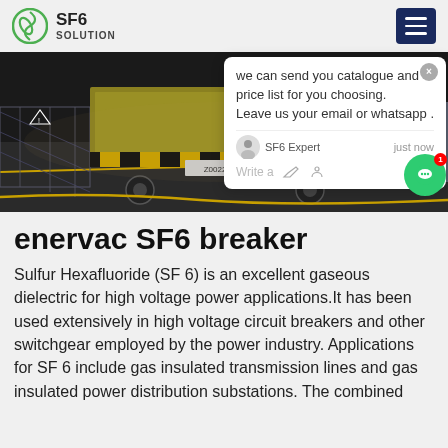SF6 SOLUTION
[Figure (photo): Outdoor scene at night showing yellow/green utility trucks and equipment parked on a road near fencing, industrial setting]
enervac SF6 breaker
Sulfur Hexafluoride (SF 6) is an excellent gaseous dielectric for high voltage power applications.It has been used extensively in high voltage circuit breakers and other switchgear employed by the power industry. Applications for SF 6 include gas insulated transmission lines and gas insulated power distribution substations. The combined